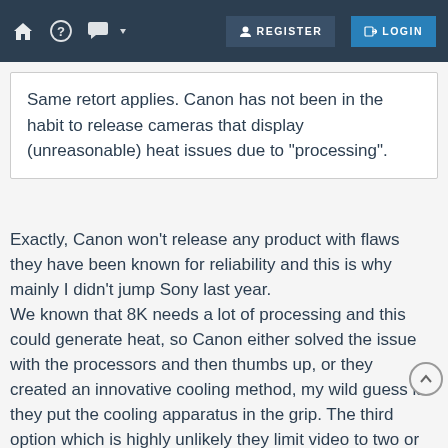REGISTER  LOGIN
Same retort applies. Canon has not been in the habit to release cameras that display (unreasonable) heat issues due to "processing".
Exactly, Canon won't release any product with flaws they have been known for reliability and this is why mainly I didn't jump Sony last year.
We known that 8K needs a lot of processing and this could generate heat, so Canon either solved the issue with the processors and then thumbs up, or they created an innovative cooling method, my wild guess is they put the cooling apparatus in the grip. The third option which is highly unlikely they limit video to two or three minutes, however, I am 100% sure there's no way they release a camera that overheats.